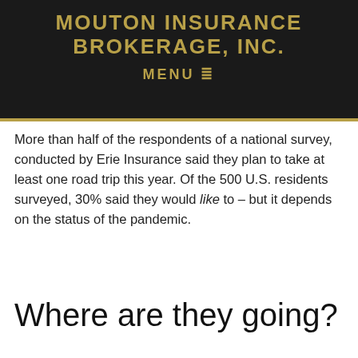MOUTON INSURANCE BROKERAGE, INC.
MENU
After the coronavirus pandemic struck the U.S. in 2020, vacations were cancelled, traveling was banned, and many employees were stuck at home. But as spring 2021 approaches, many are opening up to the idea of hitting the road and taking a vacation.
More than half of the respondents of a national survey, conducted by Erie Insurance said they plan to take at least one road trip this year. Of the 500 U.S. residents surveyed, 30% said they would like to – but it depends on the status of the pandemic.
Where are they going?